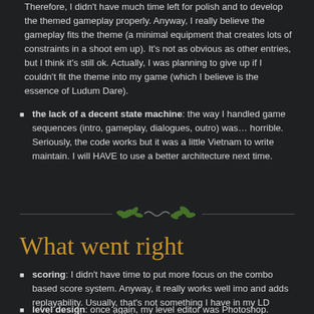Therefore, I didn't have much time left for polish and to develop the themed gameplay properly. Anyway, I really believe the gameplay fits the theme (a minimal equipment that creates lots of constraints in a shoot em up). It's not as obvious as other entries, but I think it's still ok. Actually, I was planning to give up if I couldn't fit the theme into my game (which I believe is the essence of Ludum Dare).
the lack of a decent state machine: the way I handled game sequences (intro, gameplay, dialogues, outro) was… horrible. Seriously, the code works but it was a little Vietnam to write maintain. I will HAVE to use a better architecture next time.
[Figure (illustration): Decorative divider with green leaf/vine ornaments and a curvy line in the center, on a dark background with thin horizontal lines on each side.]
What went right
scoring: I didn't have time to put more focus on the combo based score system. Anyway, it really works well imo and adds replayability. Usually, that's not something I have in my LD entries, so I'm proud of that.
level design: once again, my level editor was Photoshop.